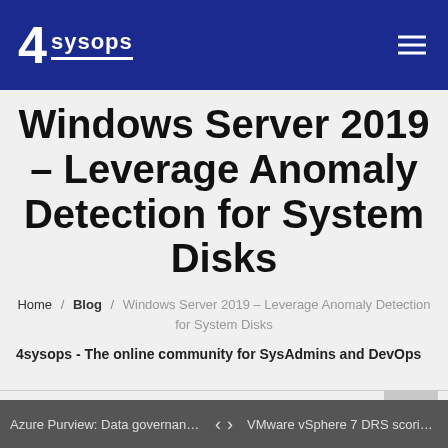4sysops
Windows Server 2019 – Leverage Anomaly Detection for System Disks
Home / Blog / Windows Server 2019 – Leverage Anomaly Detection for System Disks
4sysops - The online community for SysAdmins and DevOps
Azure Purview: Data governance f... < > VMware vSphere 7 DRS scoring a...